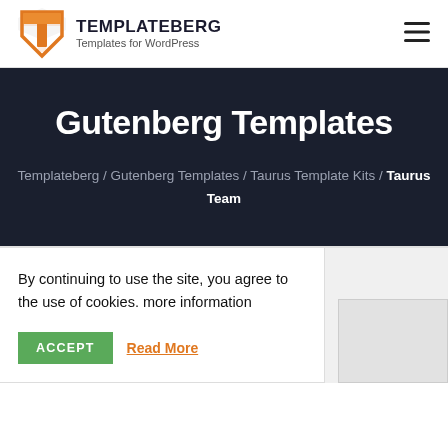TEMPLATEBERG – Templates for WordPress
Gutenberg Templates
Templateberg / Gutenberg Templates / Taurus Template Kits / Taurus Team
By continuing to use the site, you agree to the use of cookies. more information
ACCEPT   Read More